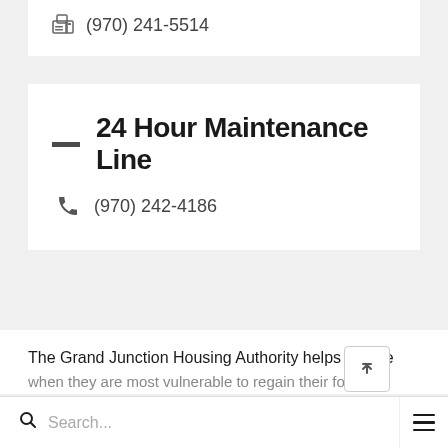(970) 241-5514
24 Hour Maintenance Line
(970) 242-4186
The Grand Junction Housing Authority helps people when they are most vulnerable to regain their footing...